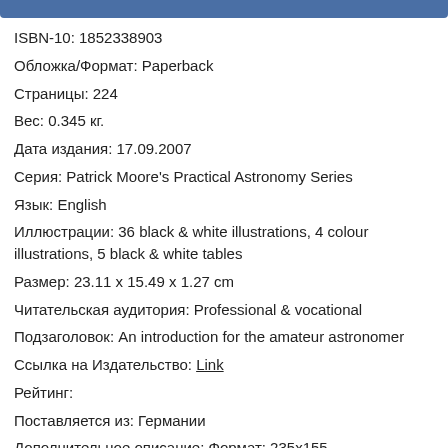ISBN-10: 1852338903
Обложка/Формат: Paperback
Страницы: 224
Вес: 0.345 кг.
Дата издания: 17.09.2007
Серия: Patrick Moore's Practical Astronomy Series
Язык: English
Иллюстрации: 36 black & white illustrations, 4 colour illustrations, 5 black & white tables
Размер: 23.11 x 15.49 x 1.27 cm
Читательская аудитория: Professional & vocational
Подзаголовок: An introduction for the amateur astronomer
Ссылка на Издательство: Link
Рейтинг:
Поставляется из: Германии
Дополнительное описание: Формат: 235x155